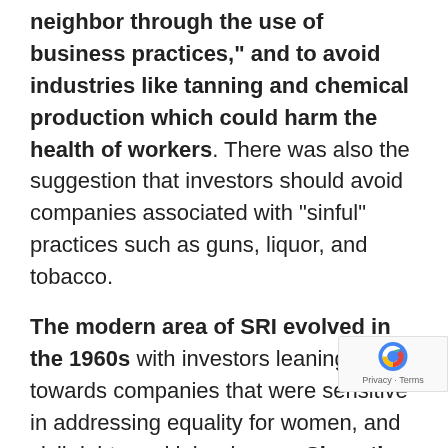neighbor through the use of business practices," and to avoid industries like tanning and chemical production which could harm the health of workers. There was also the suggestion that investors should avoid companies associated with “sinful” practices such as guns, liquor, and tobacco.
The modern area of SRI evolved in the 1960s with investors leaning towards companies that were sensitive in addressing equality for women, and civil rights and labor issues. Since the late 1990’s SRI has been seen to be more involved in looking towards promoting environmentally sustainable development.
So fast forward to today, we have seen sustainable investing to have become more popular.
Practitioners of sustainable investing can be found